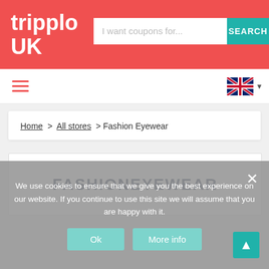tripplo UK
I want coupons for...
SEARCH
[Figure (screenshot): UK flag icon with dropdown arrow]
Home > All stores > Fashion Eyewear
[Figure (logo): FASHIONEYEWEAR logo in dark navy bold uppercase letters]
We use cookies to ensure that we give you the best experience on our website. If you continue to use this site we will assume that you are happy with it.
Ok
More info